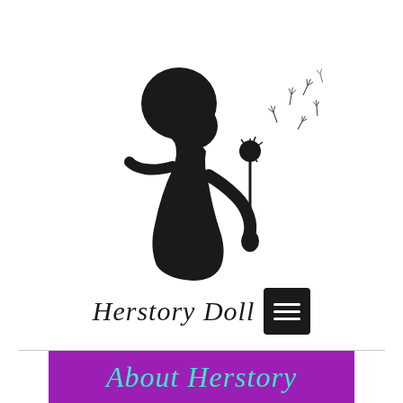[Figure (logo): Black silhouette of a young girl with afro hair blowing a dandelion, with seeds floating to the right. Below is the cursive text 'Herstory Doll' and a dark hamburger menu button.]
[Figure (illustration): Purple banner at the bottom with teal cursive text reading 'About Herstory']